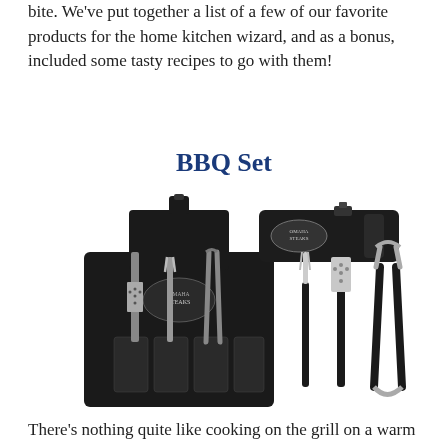bite. We've put together a list of a few of our favorite products for the home kitchen wizard, and as a bonus, included some tasty recipes to go with them!
BBQ Set
[Figure (photo): Omaha Steaks branded BBQ set showing a black apron with logo, a rolled carrying case, and three stainless steel grilling tools (fork, spatula, tongs) with black handles]
There's nothing quite like cooking on the grill on a warm